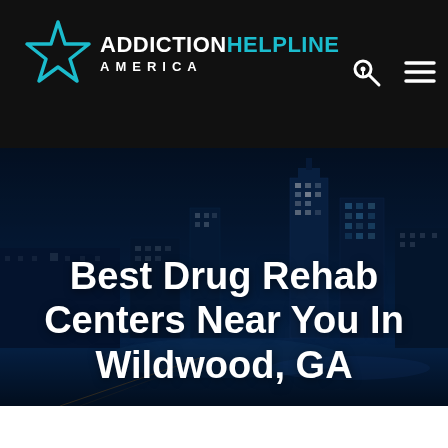[Figure (logo): Addiction Helpline America logo with teal star outline and text]
[Figure (photo): Nighttime city skyline of Atlanta, GA with illuminated skyscrapers against a dark blue sky, used as hero background image]
Best Drug Rehab Centers Near You In Wildwood, GA